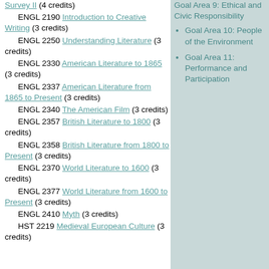Survey II (4 credits)
ENGL 2190 Introduction to Creative Writing (3 credits)
ENGL 2250 Understanding Literature (3 credits)
ENGL 2330 American Literature to 1865 (3 credits)
ENGL 2337 American Literature from 1865 to Present (3 credits)
ENGL 2340 The American Film (3 credits)
ENGL 2357 British Literature to 1800 (3 credits)
ENGL 2358 British Literature from 1800 to Present (3 credits)
ENGL 2370 World Literature to 1600 (3 credits)
ENGL 2377 World Literature from 1600 to Present (3 credits)
ENGL 2410 Myth (3 credits)
HST 2219 Medieval European Culture (3 credits)
Goal Area 9: Ethical and Civic Responsibility
Goal Area 10: People of the Environment
Goal Area 11: Performance and Participation